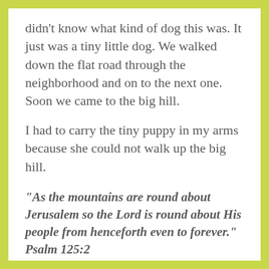didn't know what kind of dog this was. It just was a tiny little dog. We walked down the flat road through the neighborhood and on to the next one. Soon we came to the big hill.
I had to carry the tiny puppy in my arms because she could not walk up the big hill.
“As the mountains are round about Jerusalem so the Lord is round about His people from henceforth even to forever.” Psalm 125:2
We got back home and sat in the swing out back and looked up at the blue sky filled with clouds and prayed. In my dream, I saw Mark